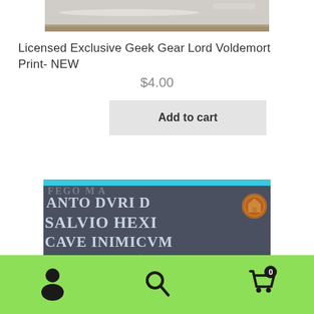[Figure (photo): Top portion of a product image showing a framed print, partially cropped]
Licensed Exclusive Geek Gear Lord Voldemort Print- NEW
$4.00
Add to cart
[Figure (photo): Bottom product image showing a dark grey print with Latin-style text: ANTO DVRI, SALVIO HEXI, CAVE INIMICVM, MVFELIATO AC, partially visible with a cyan bar at top and a bronze coin/badge sticker]
[Figure (infographic): Bottom navigation bar with green background containing person icon, search icon, and shopping cart icon with badge showing 0]